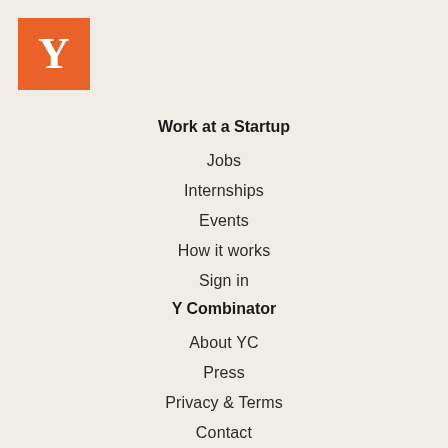[Figure (logo): Y Combinator logo: orange square with white Y letter]
Work at a Startup
Jobs
Internships
Events
How it works
Sign in
Y Combinator
About YC
Press
Privacy & Terms
Contact
Jobs by Role
Software Engineer Jobs
Design & UI/UX Jobs